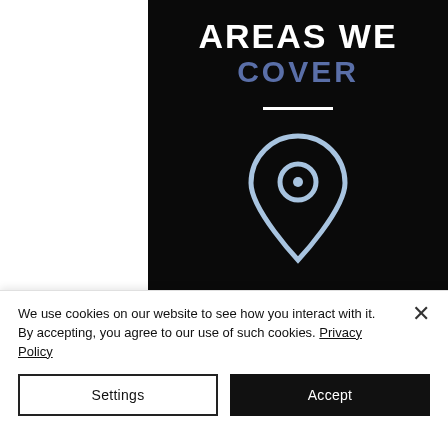[Figure (infographic): Dark black banner with 'AREAS WE COVER' title text in white and blue, a white horizontal divider line, and a light blue location pin icon below. Below that is a gray strip with 'WHAT OUR CUSTOMERS' text in white and blue.]
We use cookies on our website to see how you interact with it. By accepting, you agree to our use of such cookies. Privacy Policy
Settings
Accept